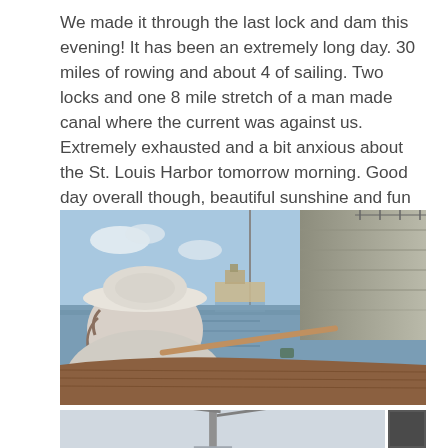We made it through the last lock and dam this evening! It has been an extremely long day. 30 miles of rowing and about 4 of sailing. Two locks and one 8 mile stretch of a man made canal where the current was against us. Extremely exhausted and a bit anxious about the St. Louis Harbor tomorrow morning. Good day overall though, beautiful sunshine and fun singing sea shanties.
[Figure (photo): Person wearing a white bucket hat seated in a wooden rowboat, viewed from behind, rowing through a lock and dam. A large concrete lock wall is visible on the right. A tugboat or barge is visible ahead in the distance on the calm water. Blue sky with light clouds.]
[Figure (photo): Bottom strip showing partial thumbnail images — left shows a tower/mast structure, right shows a dark rectangular panel.]